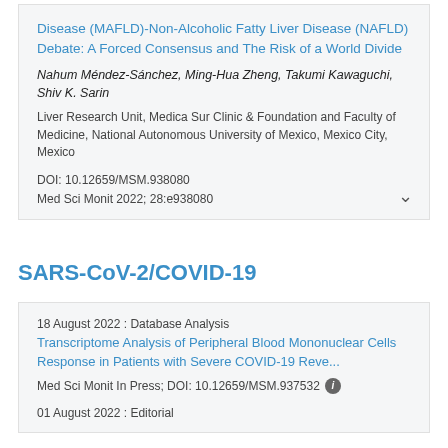Disease (MAFLD)-Non-Alcoholic Fatty Liver Disease (NAFLD) Debate: A Forced Consensus and The Risk of a World Divide
Nahum Méndez-Sánchez, Ming-Hua Zheng, Takumi Kawaguchi, Shiv K. Sarin
Liver Research Unit, Medica Sur Clinic & Foundation and Faculty of Medicine, National Autonomous University of Mexico, Mexico City, Mexico
DOI: 10.12659/MSM.938080
Med Sci Monit 2022; 28:e938080
SARS-CoV-2/COVID-19
18 August 2022 : Database Analysis
Transcriptome Analysis of Peripheral Blood Mononuclear Cells Response in Patients with Severe COVID-19 Reve...
Med Sci Monit In Press; DOI: 10.12659/MSM.937532
01 August 2022 : Editorial